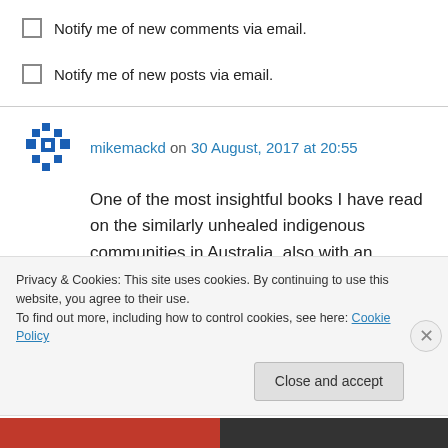Notify me of new comments via email.
Notify me of new posts via email.
mikemackd on 30 August, 2017 at 20:55
One of the most insightful books I have read on the similarly unhealed indigenous communities in Australia, also with an epidemic of youth suicide amongst many other indicators of poor mental and physical health, is by Richard
Privacy & Cookies: This site uses cookies. By continuing to use this website, you agree to their use.
To find out more, including how to control cookies, see here: Cookie Policy
Close and accept